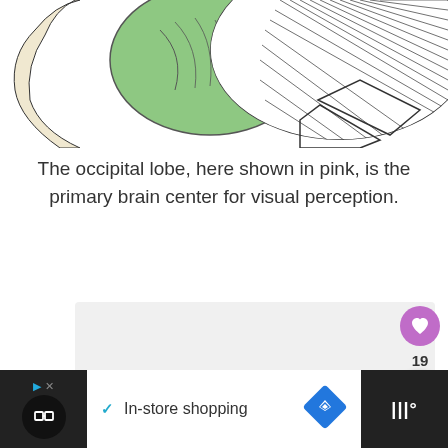[Figure (illustration): Partial illustration of a human brain viewed from the side. The occipital lobe region is highlighted in green. The brain has black line-art hatching style on the right hemisphere portion. Only the top portion of the image is visible.]
The occipital lobe, here shown in pink, is the primary brain center for visual perception.
[Figure (other): Large light gray rectangular content placeholder box below the caption.]
In-store shopping [advertisement bar with icons]